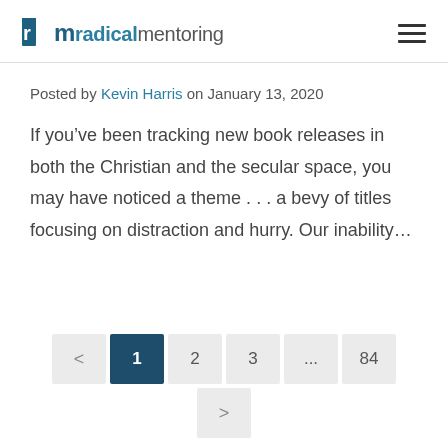rn radicalmentoring
Posted by Kevin Harris on January 13, 2020
If you’ve been tracking new book releases in both the Christian and the secular space, you may have noticed a theme . . . a bevy of titles focusing on distraction and hurry. Our inability…
< 1 2 3 ... 84 >